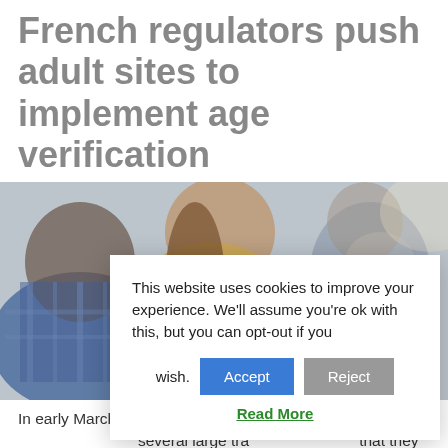French regulators push adult sites to implement age verification
[Figure (photo): Blurred photo of teenagers/young people looking at smartphones, sitting together]
In early March 2... the Conseil Sup... several large tra... that they implement an age verification system by 16
This website uses cookies to improve your experience. We'll assume you're ok with this, but you can opt-out if you wish.
Accept | Reject
Read More